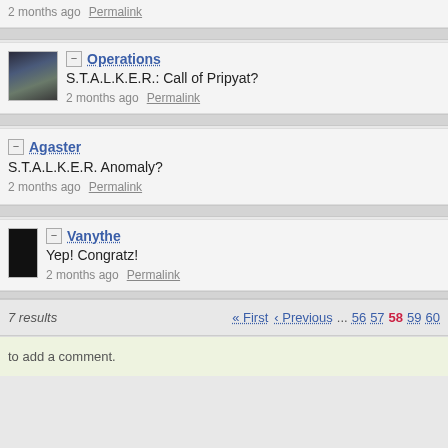2 months ago   Permalink
Operations
S.T.A.L.K.E.R.: Call of Pripyat?
2 months ago   Permalink
Agaster
S.T.A.L.K.E.R. Anomaly?
2 months ago   Permalink
Vanythe
Yep! Congratz!
2 months ago   Permalink
7 results   « First   ‹ Previous   ...   56   57   58   59   60
to add a comment.